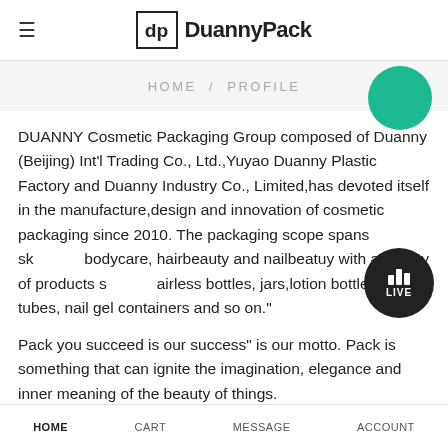≡  dp  DuannyPack
HOME / PROFILE
DUANNY Cosmetic Packaging Group composed of Duanny (Beijing) Int'l Trading Co., Ltd.,Yuyao Duanny Plastic Factory and Duanny Industry Co., Limited,has devoted itself in the manufacture,design and innovation of cosmetic packaging since 2010. The packaging scope spans skincare, bodycare, hairbeauty and nailbeatuy with a variety of products such as airless bottles, jars,lotion bottles,cream tubes, nail gel containers and so on."
Pack you succeed is our success" is our motto. Pack is something that can ignite the imagination, elegance and inner meaning of the beauty of things. DUANNY ...
HOME   CART   MESSAGE   ACCOUNT